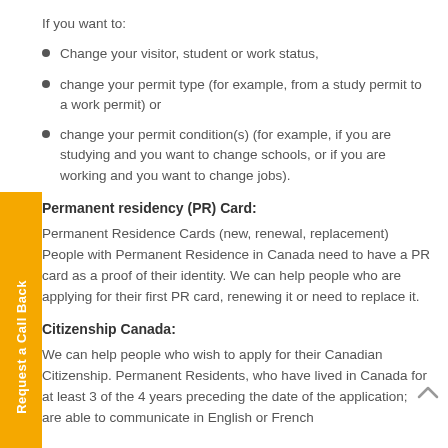If you want to:
Change your visitor, student or work status,
change your permit type (for example, from a study permit to a work permit) or
change your permit condition(s) (for example, if you are studying and you want to change schools, or if you are working and you want to change jobs).
Permanent residency (PR) Card:
Permanent Residence Cards (new, renewal, replacement) People with Permanent Residence in Canada need to have a PR card as a proof of their identity. We can help people who are applying for their first PR card, renewing it or need to replace it.
Citizenship Canada:
We can help people who wish to apply for their Canadian Citizenship. Permanent Residents, who have lived in Canada for at least 3 of the 4 years preceding the date of the application; are able to communicate in English or French